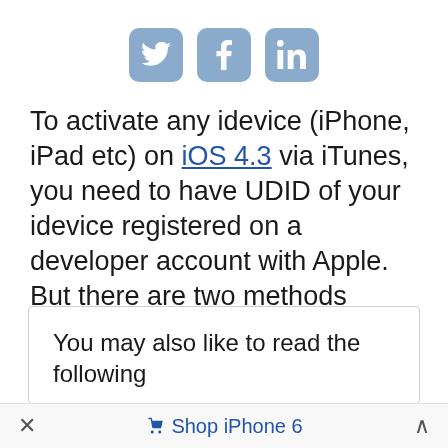[Figure (other): Three social media share buttons: Twitter bird icon, Facebook 'f' icon, LinkedIn 'in' icon — all in a muted blue rounded-square style]
To activate any idevice (iPhone, iPad etc) on iOS 4.3 via iTunes, you need to have UDID of your idevice registered on a developer account with Apple. But there are two methods floating around the web which can allow you to hacktivate (activate) iOS 4.3 on iPhone without having a developer account.
You may also like to read the following
✕   Shop iPhone 6   ∧